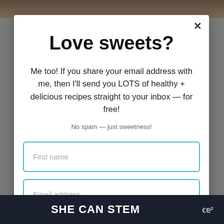[Figure (screenshot): Background photo of a person, partially visible at top, with gray overlay]
Love sweets?
Me too! If you share your email address with me, then I'll send you LOTS of healthy + delicious recipes straight to your inbox — for free!
No spam — just sweetness!
First name
Email address
[Figure (screenshot): Bottom banner with 'SHE CAN STEM' text on dark background with a logo on the right]